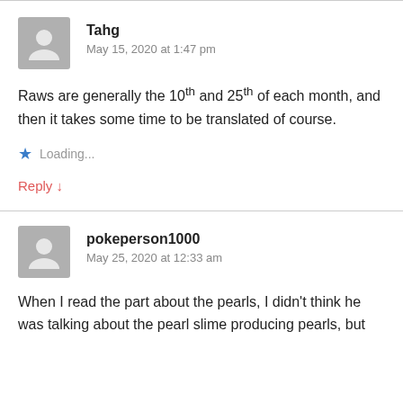Tahg
May 15, 2020 at 1:47 pm
Raws are generally the 10th and 25th of each month, and then it takes some time to be translated of course.
Loading...
Reply ↓
pokeperson1000
May 25, 2020 at 12:33 am
When I read the part about the pearls, I didn't think he was talking about the pearl slime producing pearls, but